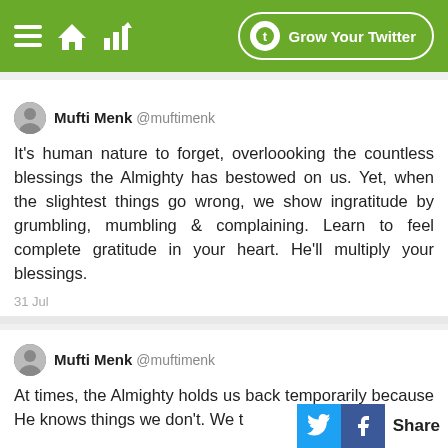Grow Your Twitter
Mufti Menk @muftimenk
It's human nature to forget, overlooking the countless blessings the Almighty has bestowed on us. Yet, when the slightest things go wrong, we show ingratitude by grumbling, mumbling & complaining. Learn to feel complete gratitude in your heart. He'll multiply your blessings.
31 Jul
Mufti Menk @muftimenk
At times, the Almighty holds us back temporarily because He knows things we don't. We t